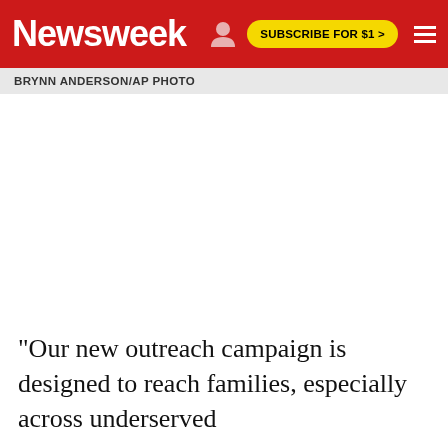Newsweek | SUBSCRIBE FOR $1 >
BRYNN ANDERSON/AP PHOTO
[Figure (photo): Large white/blank photo area below the caption]
"Our new outreach campaign is designed to reach families, especially across underserved